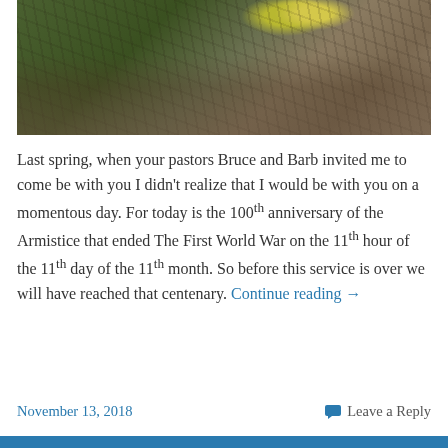[Figure (photo): Close-up photograph of a cactus with a yellow flower bloom, surrounded by dry branches and rocky ground in a desert landscape.]
Last spring, when your pastors Bruce and Barb invited me to come be with you I didn't realize that I would be with you on a momentous day. For today is the 100th anniversary of the Armistice that ended The First World War on the 11th hour of the 11th day of the 11th month. So before this service is over we will have reached that centenary. Continue reading →
November 13, 2018    Leave a Reply